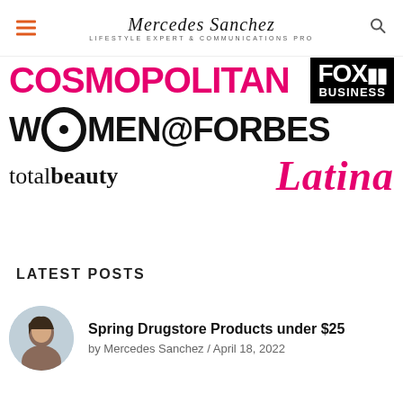Mercedes Sanchez
LIFESTYLE EXPERT & COMMUNICATIONS PRO
[Figure (logo): COSMOPOLITAN logo in large bold pink text; FOX BUSINESS logo in white text on black background]
[Figure (logo): WOMEN@FORBES logo in large bold black text with circular O]
[Figure (logo): totalbeauty logo in mixed weight black text; Latina logo in bold italic pink text]
LATEST POSTS
[Figure (photo): Circular thumbnail photo of Mercedes Sanchez]
Spring Drugstore Products under $25
by Mercedes Sanchez / April 18, 2022